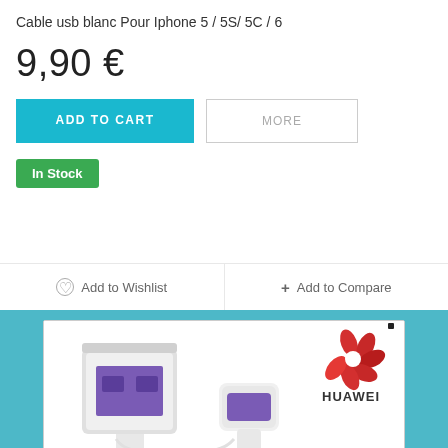Cable usb blanc Pour Iphone 5 / 5S/ 5C / 6
9,90 €
ADD TO CART
MORE
In Stock
Add to Wishlist
Add to Compare
[Figure (photo): USB cable product photo showing a USB Type-A connector and a USB Type-C connector, white cables, with Huawei logo in top right corner]